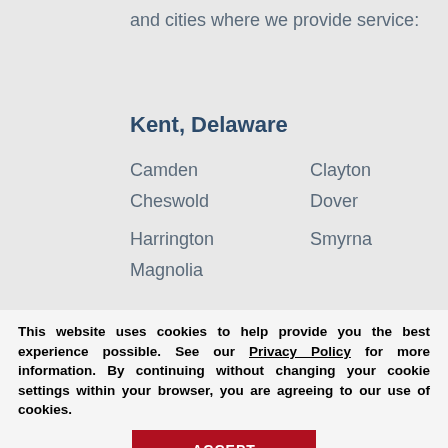and cities where we provide service:
Kent, Delaware
Camden
Clayton
Cheswold
Dover
Harrington
Smyrna
Magnolia
Sussex, Delaware
Bethany Beach
Georgetown
This website uses cookies to help provide you the best experience possible. See our Privacy Policy for more information. By continuing without changing your cookie settings within your browser, you are agreeing to our use of cookies.
ACCEPT